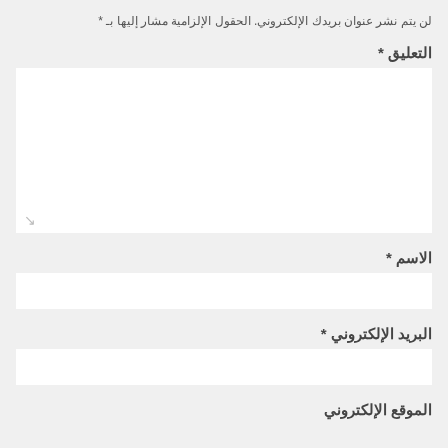لن يتم نشر عنوان بريدك الإلكتروني. الحقول الإلزامية مشار إليها بـ *
التعليق *
[Figure (other): Large text area input box for comment field]
الاسم *
[Figure (other): Single line text input box for name field]
البريد الإلكتروني *
[Figure (other): Single line text input box for email field]
الموقع الإلكتروني